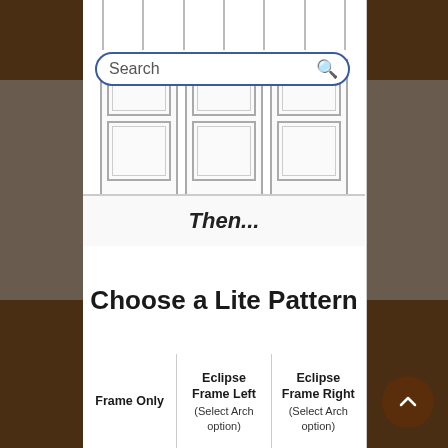[Figure (screenshot): Mobile app screenshot showing a door configurator. Top section shows door panel designs with decorative insets. A search bar is visible. Below is a 'Then...' label followed by 'Choose a Lite Pattern' heading. A table lists three lite pattern options: Frame Only, Eclipse Frame Left (Select Arch option), Eclipse Frame Right (Select Arch option). Bottom row shows door preview thumbnails. A brown back-to-top button is visible in the lower right.]